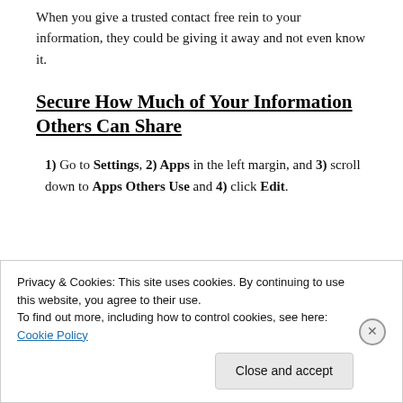When you give a trusted contact free rein to your information, they could be giving it away and not even know it.
Secure How Much of Your Information Others Can Share
1) Go to Settings, 2) Apps in the left margin, and 3) scroll down to Apps Others Use and 4) click Edit.
Privacy & Cookies: This site uses cookies. By continuing to use this website, you agree to their use. To find out more, including how to control cookies, see here: Cookie Policy